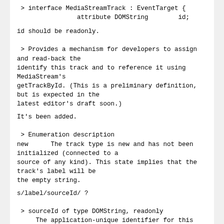> interface MediaStreamTrack : EventTarget {
                attribute DOMString        id;
id should be readonly.
> Provides a mechanism for developers to assign and read-back the
identify this track and to reference it using MediaStream's
getTrackById. (This is a preliminary definition, but is expected in the
latest editor's draft soon.)
It's been added.
> Enumeration description
new      The track type is new and has not been initialized (connected to a
source of any kind). This state implies that the track's label will be
the empty string.
s/label/sourceId/ ?
> sourceId of type DOMString, readonly
     The application-unique identifier for this